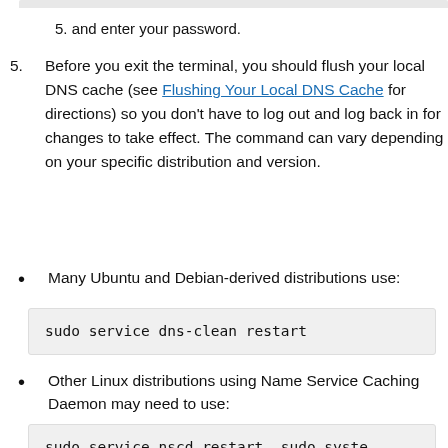5. and enter your password.
5. Before you exit the terminal, you should flush your local DNS cache (see Flushing Your Local DNS Cache for directions) so you don't have to log out and log back in for changes to take effect. The command can vary depending on your specific distribution and version.
Many Ubuntu and Debian-derived distributions use:
sudo service dns-clean restart
Other Linux distributions using Name Service Caching Daemon may need to use:
sudo service nscd restart, sudo syste